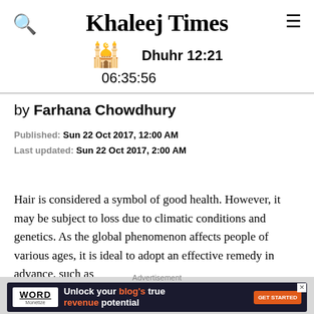Khaleej Times — Dhuhr 12:21 — 06:35:56
by Farhana Chowdhury
Published: Sun 22 Oct 2017, 12:00 AM
Last updated: Sun 22 Oct 2017, 2:00 AM
Hair is considered a symbol of good health. However, it may be subject to loss due to climatic conditions and genetics. As the global phenomenon affects people of various ages, it is ideal to adopt an effective remedy in advance, such as
Advertisement
[Figure (other): Word Monetize advertisement banner: Unlock your blog's true revenue potential — GET STARTED button]